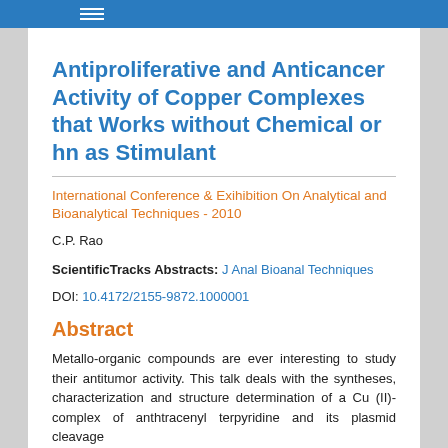Antiproliferative and Anticancer Activity of Copper Complexes that Works without Chemical or hn as Stimulant
International Conference & Exihibition On Analytical and Bioanalytical Techniques - 2010
C.P. Rao
ScientificTracks Abstracts: J Anal Bioanal Techniques
DOI: 10.4172/2155-9872.1000001
Abstract
Metallo-organic compounds are ever interesting to study their antitumor activity. This talk deals with the syntheses, characterization and structure determination of a Cu (II)-complex of anthtracenyl terpyridine and its plasmid cleavage